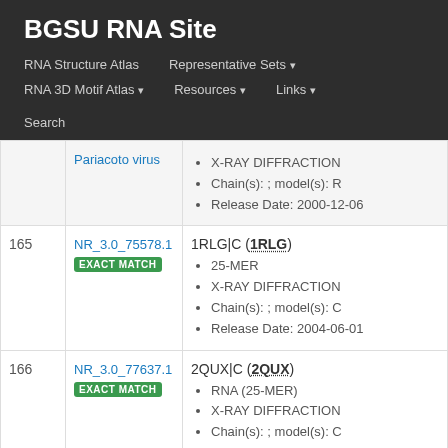BGSU RNA Site
RNA Structure Atlas | Representative Sets ▾ | RNA 3D Motif Atlas ▾ | Resources ▾ | Links ▾ | Search
| # | ID | Info |
| --- | --- | --- |
|  | Pariacoto virus | X-RAY DIFFRACTION
Chain(s): ; model(s): R
Release Date: 2000-12-06 |
| 165 | NR_3.0_75578.1
EXACT MATCH | 1RLG|C (1RLG)
25-MER
X-RAY DIFFRACTION
Chain(s): ; model(s): C
Release Date: 2004-06-01 |
| 166 | NR_3.0_77637.1
EXACT MATCH | 2QUX|C (2QUX)
RNA (25-MER)
X-RAY DIFFRACTION
Chain(s): ; model(s): C
Release Date: 2007-12-18 |